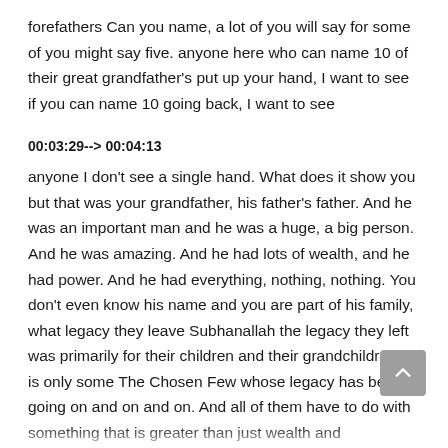forefathers Can you name, a lot of you will say for some of you might say five. anyone here who can name 10 of their great grandfather's put up your hand, I want to see if you can name 10 going back, I want to see
00:03:29--> 00:04:13
anyone I don't see a single hand. What does it show you but that was your grandfather, his father's father. And he was an important man and he was a huge, a big person. And he was amazing. And he had lots of wealth, and he had power. And he had everything, nothing, nothing. You don't even know his name and you are part of his family, what legacy they leave Subhanallah the legacy they left was primarily for their children and their grandchildren. It is only some The Chosen Few whose legacy has been going on and on and on. And all of them have to do with something that is greater than just wealth and